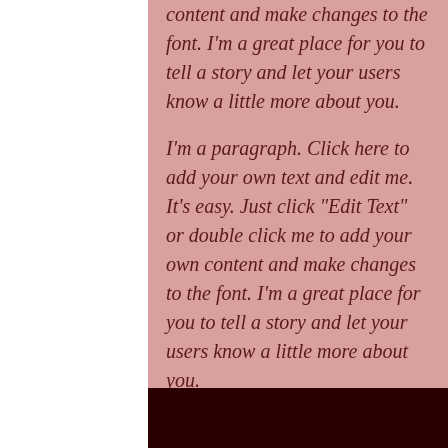content and make changes to the font. I'm a great place for you to tell a story and let your users know a little more about you.

I'm a paragraph. Click here to add your own text and edit me. It's easy. Just click "Edit Text" or double click me to add your own content and make changes to the font. I'm a great place for you to tell a story and let your users know a little more about you.